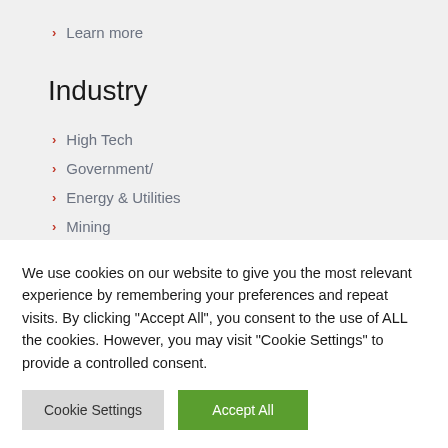Learn more
Industry
High Tech
Government/
Energy & Utilities
Mining
We use cookies on our website to give you the most relevant experience by remembering your preferences and repeat visits. By clicking “Accept All”, you consent to the use of ALL the cookies. However, you may visit "Cookie Settings" to provide a controlled consent.
Cookie Settings  Accept All